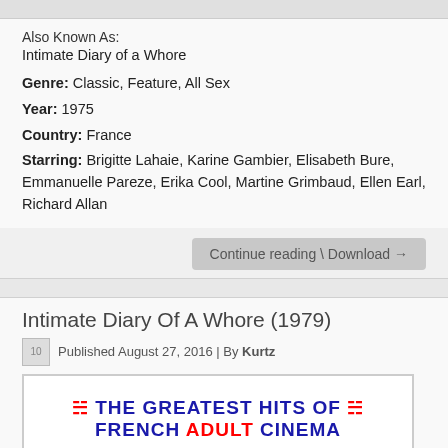Also Known As:
Intimate Diary of a Whore
Genre: Classic, Feature, All Sex
Year: 1975
Country: France
Starring: Brigitte Lahaie, Karine Gambier, Elisabeth Bure, Emmanuelle Pareze, Erika Cool, Martine Grimbaud, Ellen Earl, Richard Allan
Continue reading \ Download →
Intimate Diary Of A Whore (1979)
Published August 27, 2016 | By Kurtz
[Figure (photo): Banner image reading 'THE GREATEST HITS OF FRENCH ADULT CINEMA' with horseshoe logos, blue and red text on white background, followed by a close-up photo of a person's face]